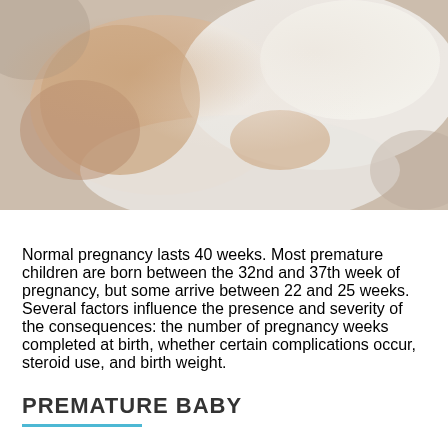[Figure (photo): A sleeping premature or newborn baby in white clothing, lying on white fabric/towel, photographed close-up.]
Normal pregnancy lasts 40 weeks. Most premature children are born between the 32nd and 37th week of pregnancy, but some arrive between 22 and 25 weeks. Several factors influence the presence and severity of the consequences: the number of pregnancy weeks completed at birth, whether certain complications occur, steroid use, and birth weight.
PREMATURE BABY